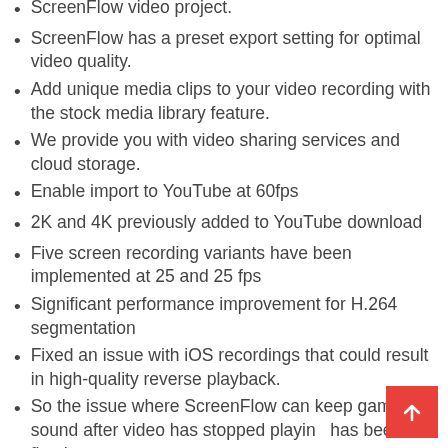ScreenFlow video project.
ScreenFlow has a preset export setting for optimal video quality.
Add unique media clips to your video recording with the stock media library feature.
We provide you with video sharing services and cloud storage.
Enable import to YouTube at 60fps
2K and 4K previously added to YouTube download
Five screen recording variants have been implemented at 25 and 25 fps
Significant performance improvement for H.264 segmentation
Fixed an issue with iOS recordings that could result in high-quality reverse playback.
So the issue where ScreenFlow can keep game sound after video has stopped playing has been fixed.